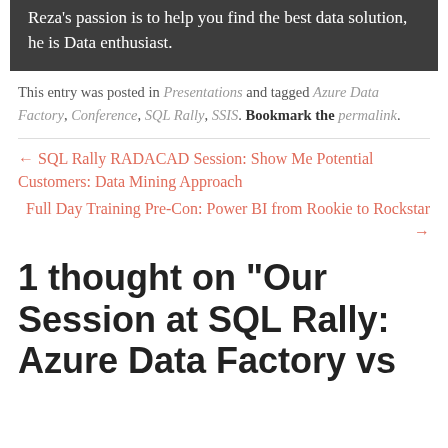Reza's passion is to help you find the best data solution, he is Data enthusiast.
This entry was posted in Presentations and tagged Azure Data Factory, Conference, SQL Rally, SSIS. Bookmark the permalink.
← SQL Rally RADACAD Session: Show Me Potential Customers: Data Mining Approach
Full Day Training Pre-Con: Power BI from Rookie to Rockstar →
1 thought on “Our Session at SQL Rally: Azure Data Factory vs